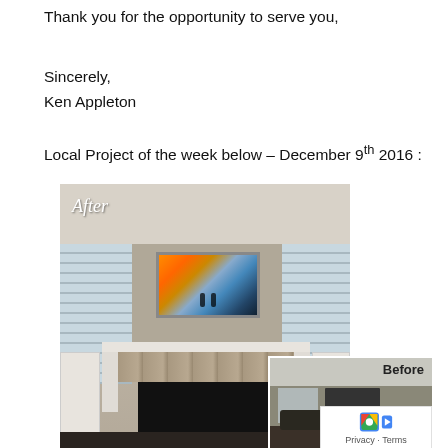Thank you for the opportunity to serve you,
Sincerely,
Ken Appleton
Local Project of the week below – December 9th 2016 :
[Figure (photo): After photo of a living room with a mounted TV above a white fireplace with stone surround, windows with shutters on both sides, white wainscoting, and dark hardwood floors. The word 'After' appears in italic white text in the upper left of the photo.]
[Figure (photo): Before photo of the same living room, showing the space before renovation with darker tones and furniture visible. The word 'Before' appears in the upper right.]
Privacy · Terms